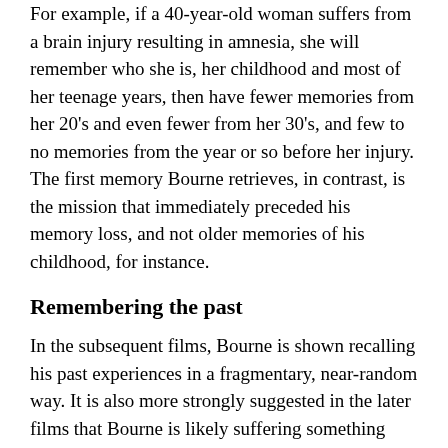For example, if a 40-year-old woman suffers from a brain injury resulting in amnesia, she will remember who she is, her childhood and most of her teenage years, then have fewer memories from her 20's and even fewer from her 30's, and few to no memories from the year or so before her injury. The first memory Bourne retrieves, in contrast, is the mission that immediately preceded his memory loss, and not older memories of his childhood, for instance.
Remembering the past
In the subsequent films, Bourne is shown recalling his past experiences in a fragmentary, near-random way. It is also more strongly suggested in the later films that Bourne is likely suffering something called psychogenic amnesia. Unlike amnesia that stems from an illness or injury that causes brain